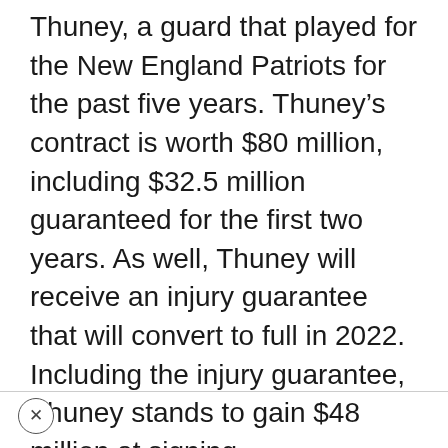Thuney, a guard that played for the New England Patriots for the past five years. Thuney’s contract is worth $80 million, including $32.5 million guaranteed for the first two years. As well, Thuney will receive an injury guarantee that will convert to full in 2022. Including the injury guarantee, Thuney stands to gain $48 million at signing.
X